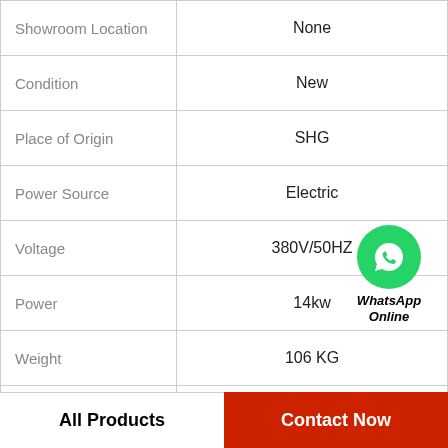| Property | Value |
| --- | --- |
| Showroom Location | None |
| Condition | New |
| Place of Origin | SHG |
| Power Source | Electric |
| Voltage | 380V/50HZ |
| Power | 14kw |
| Weight | 106 KG |
| Dimension(L*W*H) | 430x780x1160 mm |
|  |  |
[Figure (logo): WhatsApp Online button with green WhatsApp logo icon and bold italic text 'WhatsApp Online']
All Products
Contact Now